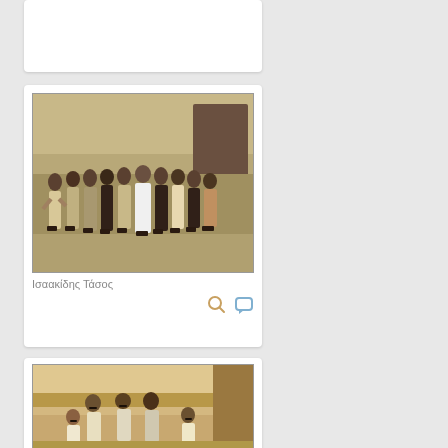[Figure (photo): Card with partial photo visible at top of page, mostly white card]
[Figure (photo): Black and white vintage photo of a group of women and one man standing together outdoors, sepia/monochrome tone]
Ισαακίδης Τάσος
[Figure (photo): Sepia-toned vintage photo of a group of people, men and women, standing together, appears to be outdoors near a building]